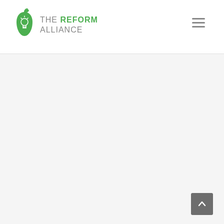THE REFORM ALLIANCE
[Figure (logo): The Reform Alliance logo — green apple/lightbulb icon with text 'THE REFORM ALLIANCE' in gray and green]
[Figure (other): Hamburger menu icon (three horizontal lines) in gray on the top right]
[Figure (other): Scroll-to-top button (dark gray square with upward chevron arrow) in bottom right corner]